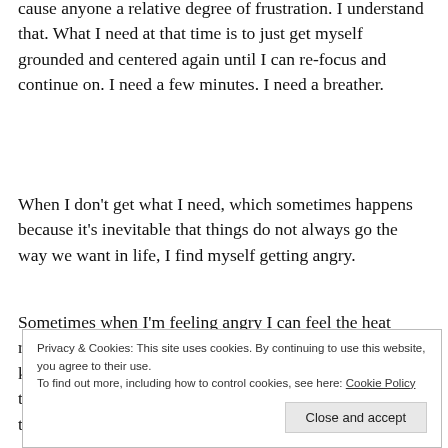cause anyone a relative degree of frustration. I understand that. What I need at that time is to just get myself grounded and centered again until I can re-focus and continue on. I need a few minutes. I need a breather.
When I don't get what I need, which sometimes happens because it's inevitable that things do not always go the way we want in life, I find myself getting angry.
Sometimes when I'm feeling angry I can feel the heat rising in my chest and I can feel my face get hot. Who knows if I actually turn red but I can feel the anger as though it's burning in my eyes and lips. I don't like to feel that way. I'd prefer to avoid it.
Privacy & Cookies: This site uses cookies. By continuing to use this website, you agree to their use. To find out more, including how to control cookies, see here: Cookie Policy